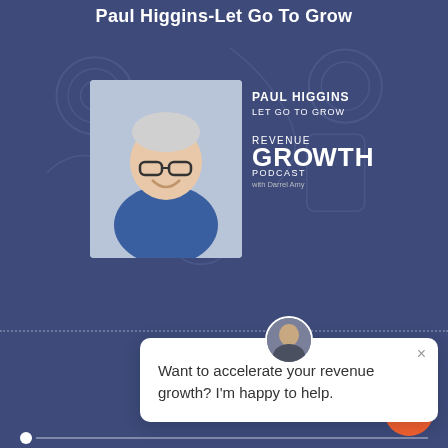Paul Higgins-Let Go To Grow
[Figure (screenshot): Podcast player screenshot showing Paul Higgins Let Go To Grow episode on Revenue Growth Podcast with Darrel Amy. Features a photo of Paul Higgins smiling, podcast artwork, a progress bar at 00:00 with -26:16 remaining, a chat popup saying 'Want to accelerate your revenue growth? I'm happy to help.', and an orange chat button.]